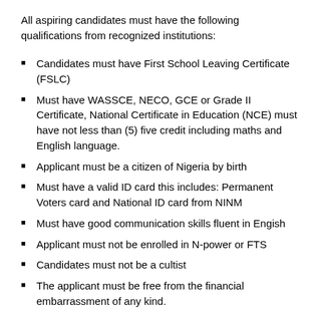All aspiring candidates must have the following qualifications from recognized institutions:
Candidates must have First School Leaving Certificate (FSLC)
Must have WASSCE, NECO, GCE or Grade II Certificate, National Certificate in Education (NCE) must have not less than (5) five credit including maths and English language.
Applicant must be a citizen of Nigeria by birth
Must have a valid ID card this includes: Permanent Voters card and National ID card from NINM
Must have good communication skills fluent in Engish
Applicant must not be enrolled in N-power or FTS
Candidates must not be a cultist
The applicant must be free from the financial embarrassment of any kind.